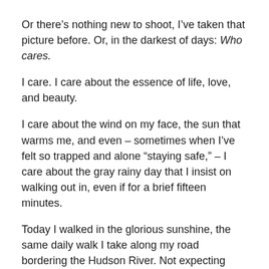Or there’s nothing new to shoot, I’ve taken that picture before. Or, in the darkest of days: Who cares.
I care. I care about the essence of life, love, and beauty.
I care about the wind on my face, the sun that warms me, and even – sometimes when I’ve felt so trapped and alone “staying safe,” – I care about the gray rainy day that I insist on walking out in, even if for a brief fifteen minutes.
Today I walked in the glorious sunshine, the same daily walk I take along my road bordering the Hudson River. Not expecting something new, just happy to be out and breathing clear, fresh air.
I brought my camera, as usual, ready for inspiration, but not requiring myself to shoot. Listening to an interview with Brother David Steindl-Rast, a favorite monk, sharing his